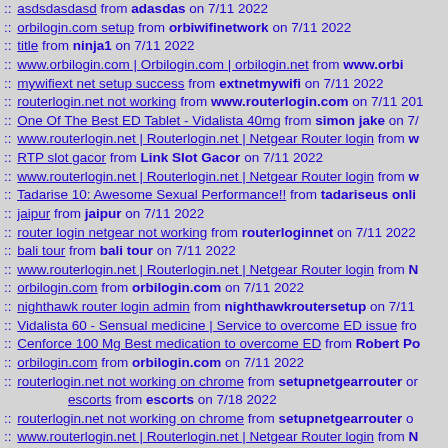:: asdsdasdasd from adasdas on 7/11 2022
:: orbilogin.com setup from orbiwifinetwork on 7/11 2022
:: title from ninja1 on 7/11 2022
:: www.orbilogin.com | Orbilogin.com | orbilogin.net from www.orbi...
:: mywifiext net setup success from extnetmywifi on 7/11 2022
:: routerlogin.net not working from www.routerlogin.com on 7/11 201...
:: One Of The Best ED Tablet - Vidalista 40mg from simon jake on 7/...
:: www.routerlogin.net | Routerlogin.net | Netgear Router login from w...
:: RTP slot gacor from Link Slot Gacor on 7/11 2022
:: www.routerlogin.net | Routerlogin.net | Netgear Router login from w...
:: Tadarise 10: Awesome Sexual Performance!! from tadariseus onli...
:: jaipur from jaipur on 7/11 2022
:: router login netgear not working from routerloginnet on 7/11 2022
:: bali tour from bali tour on 7/11 2022
:: www.routerlogin.net | Routerlogin.net | Netgear Router login from N...
:: orbilogin.com from orbilogin.com on 7/11 2022
:: nighthawk router login admin from nighthawkroutersetup on 7/11...
:: Vidalista 60 - Sensual medicine | Service to overcome ED issue fro...
:: Cenforce 100 Mg Best medication to overcome ED from Robert Po...
:: orbilogin.com from orbilogin.com on 7/11 2022
:: routerlogin.net not working on chrome from setupnetgearrouter or...
escorts from escorts on 7/18 2022
:: routerlogin.net not working on chrome from setupnetgearrouter o...
:: www.routerlogin.net | Routerlogin.net | Netgear Router login from N...
:: hp printer says offline from hp printer says offline on 7/11 2022
Follow the instruction from camlie on 8/1 2022
:: Game from Mayulisa on 7/11 2022
:: turbo tergacor from turbo on 7/10 2022
:: wdslot77 from Gina on 7/10 2022
:: The California Beach Co Coupon Code from sneekcoupon on 7/10...